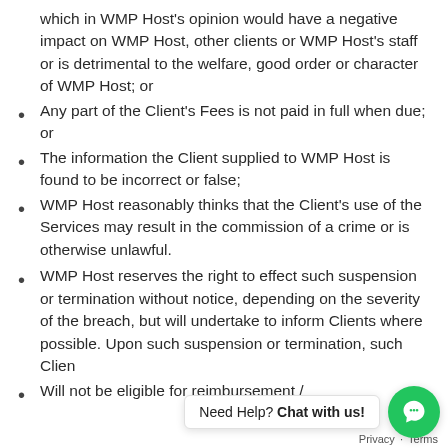which in WMP Host's opinion would have a negative impact on WMP Host, other clients or WMP Host's staff or is detrimental to the welfare, good order or character of WMP Host; or
Any part of the Client's Fees is not paid in full when due; or
The information the Client supplied to WMP Host is found to be incorrect or false;
WMP Host reasonably thinks that the Client's use of the Services may result in the commission of a crime or is otherwise unlawful.
WMP Host reserves the right to effect such suspension or termination without notice, depending on the severity of the breach, but will undertake to inform Clients where possible. Upon such suspension or termination, such Clien
Will not be eligible for reimbursement /